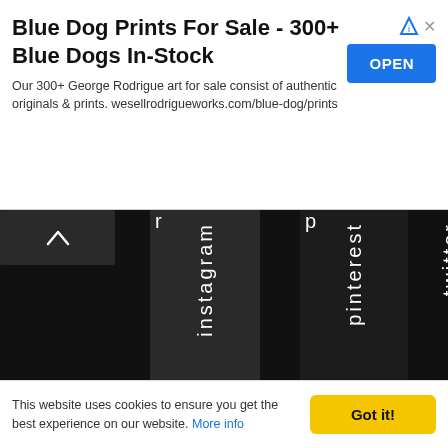[Figure (screenshot): Advertisement banner for Blue Dog Prints For Sale with OPEN button]
Blue Dog Prints For Sale - 300+ Blue Dogs In-Stock
Our 300+ George Rodrigue art for sale consist of authentic originals & prints. wesellrodrigueworks.com/blue-dog/prints
[Figure (screenshot): Social media navigation menu with vertical rotated text labels: facebook, instagram, pinterest, twitter, linkedin, email on dark background with up caret button]
QUICK LINKS
Home
This website uses cookies to ensure you get the best experience on our website. More info